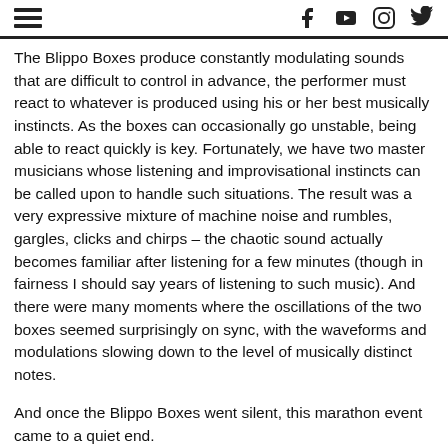[hamburger menu icon] [facebook icon] [youtube icon] [instagram icon] [twitter icon]
The Blippo Boxes produce constantly modulating sounds that are difficult to control in advance, the performer must react to whatever is produced using his or her best musically instincts. As the boxes can occasionally go unstable, being able to react quickly is key. Fortunately, we have two master musicians whose listening and improvisational instincts can be called upon to handle such situations. The result was a very expressive mixture of machine noise and rumbles, gargles, clicks and chirps – the chaotic sound actually becomes familiar after listening for a few minutes (though in fairness I should say years of listening to such music). And there were many moments where the oscillations of the two boxes seemed surprisingly on sync, with the waveforms and modulations slowing down to the level of musically distinct notes.
And once the Blippo Boxes went silent, this marathon event came to a quiet end.